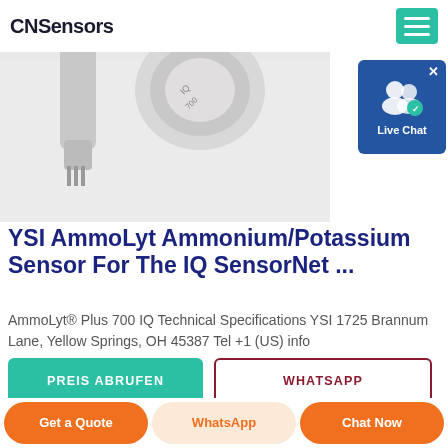CNSensors
[Figure (photo): YSI AmmoLyt Ammonium/Potassium sensor product photo, showing cylindrical sensor hardware against a light grey background]
[Figure (screenshot): Live Chat widget button showing user icon with blue background]
YSI AmmoLyt Ammonium/Potassium Sensor For The IQ SensorNet ...
AmmoLyt® Plus 700 IQ Technical Specifications YSI 1725 Brannum Lane, Yellow Springs, OH 45387 Tel +1 (US) info
PREIS ABRUFEN
WHATSAPP
Get a Quote
WhatsApp
Chat Now